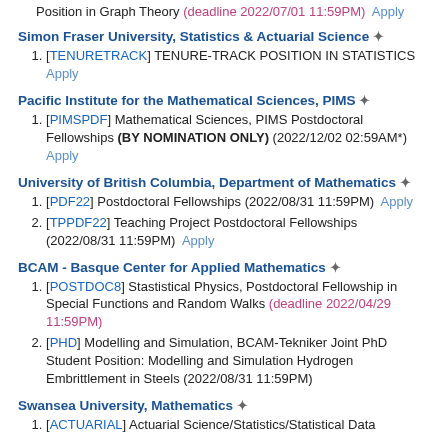Position in Graph Theory (deadline 2022/07/01 11:59PM) Apply
Simon Fraser University, Statistics & Actuarial Science ✦
[TENURETRACK] TENURE-TRACK POSITION IN STATISTICS Apply
Pacific Institute for the Mathematical Sciences, PIMS ✦
[PIMSPDF] Mathematical Sciences, PIMS Postdoctoral Fellowships (BY NOMINATION ONLY) (2022/12/02 02:59AM*) Apply
University of British Columbia, Department of Mathematics ✦
[PDF22] Postdoctoral Fellowships (2022/08/31 11:59PM) Apply
[TPPDF22] Teaching Project Postdoctoral Fellowships (2022/08/31 11:59PM) Apply
BCAM - Basque Center for Applied Mathematics ✦
[POSTDOC8] Stastistical Physics, Postdoctoral Fellowship in Special Functions and Random Walks (deadline 2022/04/29 11:59PM)
[PHD] Modelling and Simulation, BCAM-Tekniker Joint PhD Student Position: Modelling and Simulation Hydrogen Embrittlement in Steels (2022/08/31 11:59PM)
Swansea University, Mathematics ✦
[ACTUARIAL] Actuarial Science/Statistics/Statistical Data